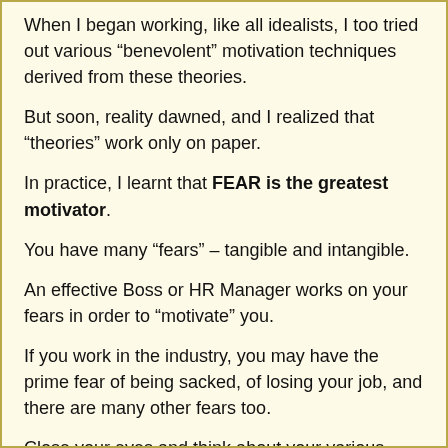When I began working, like all idealists, I too tried out various “benevolent” motivation techniques derived from these theories.
But soon, reality dawned, and I realized that “theories” work only on paper.
In practice, I learnt that FEAR is the greatest motivator.
You have many “fears” – tangible and intangible.
An effective Boss or HR Manager works on your fears in order to “motivate” you.
If you work in the industry, you may have the prime fear of being sacked, of losing your job, and there are many other fears too.
Close your eyes and think about your various fears.
If you work in the government, there are various “punitive” fears which can be exploited in order to “motivate” you and make you toe the line.
Every organization, lays down certain “punishments” to